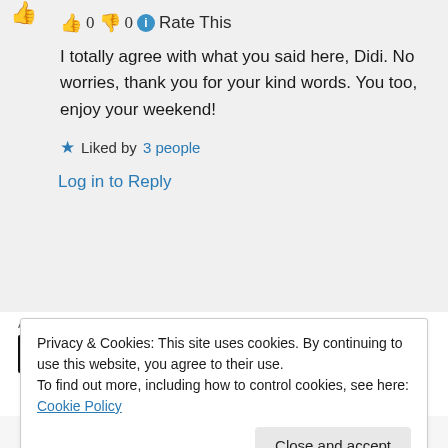👍 0 👎 0 ℹ️ Rate This
I totally agree with what you said here, Didi. No worries, thank you for your kind words. You too, enjoy your weekend!
★ Liked by 3 people
Log in to Reply
Advertisements
Privacy & Cookies: This site uses cookies. By continuing to use this website, you agree to their use.
To find out more, including how to control cookies, see here: Cookie Policy
Close and accept
👎 0 👍 0 Rate This